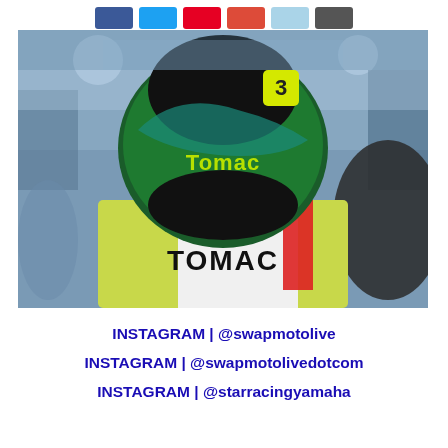[Figure (other): Row of social media icon buttons: Facebook (blue), Twitter (light blue), Pinterest (red), Google+ (red/orange), another light blue icon, and a dark icon]
[Figure (photo): Close-up rear view of a motocross rider wearing a green Bell helmet with 'Tomac' branding and number 3, green and yellow jersey with 'TOMAC' printed on the back, inside a stadium setting]
INSTAGRAM | @swapmotolive
INSTAGRAM | @swapmotolivedotcom
INSTAGRAM | @starracingyamaha